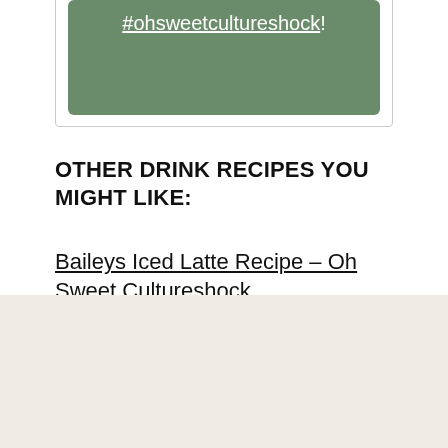#ohsweetcultureshock!
OTHER DRINK RECIPES YOU MIGHT LIKE:
Baileys Iced Latte Recipe – Oh Sweet Cultureshock
WANT TO EAT SEASONALLY?
SUBSCRIBE TO OUR SEASONAL CALENDAR AND GET MONTHLY UPDATES WITH THE CURRENT PRODUCE IN SEASON & RECIPES